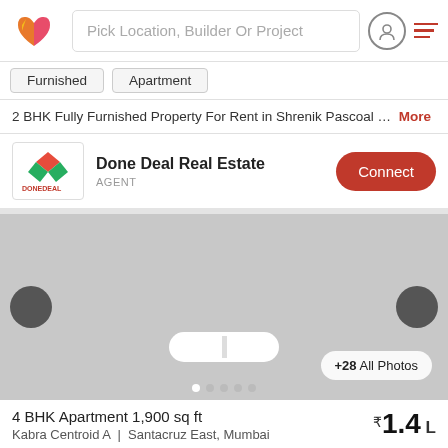Pick Location, Builder Or Project
Furnished
Apartment
2 BHK Fully Furnished Property For Rent in Shrenik Pascoal … More
Done Deal Real Estate
AGENT
[Figure (photo): Property photo gallery placeholder showing a large grey image area with left/right navigation circles, dot indicators, a pill-shaped indicator, and a '+28 All Photos' button in the bottom right.]
4 BHK Apartment 1,900 sq ft
₹1.4 L
Kabra Centroid A  |  Santacruz East, Mumbai